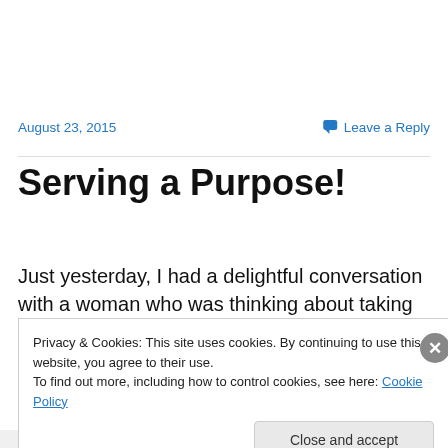August 23, 2015
Leave a Reply
Serving a Purpose!
Just yesterday, I had a delightful conversation with a woman who was thinking about taking one of my classes
Privacy & Cookies: This site uses cookies. By continuing to use this website, you agree to their use.
To find out more, including how to control cookies, see here: Cookie Policy
Close and accept